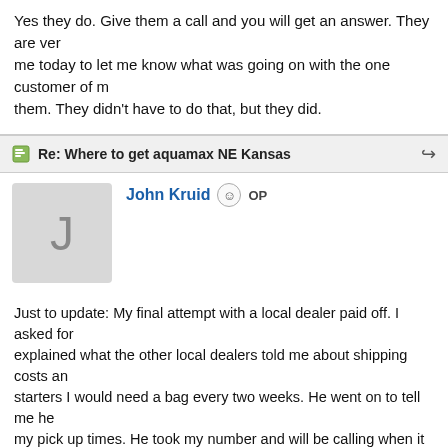Yes they do. Give them a call and you will get an answer. They are very responsive. They called me today to let me know what was going on with the one customer of mine that had an issue with them. They didn't have to do that, but they did.
Re: Where to get aquamax NE Kansas
John Kruid  OP
Just to update: My final attempt with a local dealer paid off. I asked for the manager and explained what the other local dealers told me about shipping costs and that for starters I would need a bag every two weeks. He went on to tell me he could work with my pick up times. He took my number and will be calling when it arrives.
Re: Where to get aquamax NE Kansas
anthropic